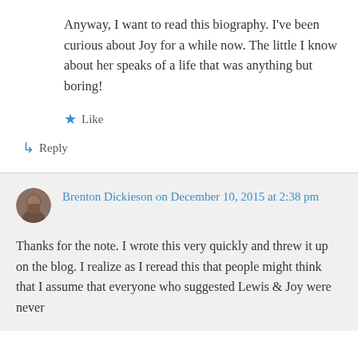Anyway, I want to read this biography. I've been curious about Joy for a while now. The little I know about her speaks of a life that was anything but boring!
★ Like
↳ Reply
Brenton Dickieson on December 10, 2015 at 2:38 pm
Thanks for the note. I wrote this very quickly and threw it up on the blog. I realize as I reread this that people might think that I assume that everyone who suggested Lewis & Joy were never